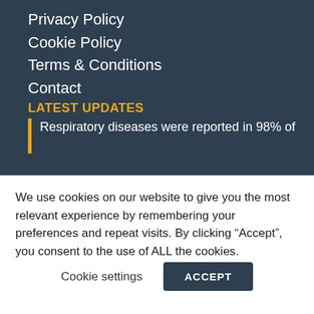Privacy Policy
Cookie Policy
Terms & Conditions
Contact
LATEST UPDATES
Respiratory diseases were reported in 98% of
We use cookies on our website to give you the most relevant experience by remembering your preferences and repeat visits. By clicking “Accept”, you consent to the use of ALL the cookies.
Cookie settings
ACCEPT